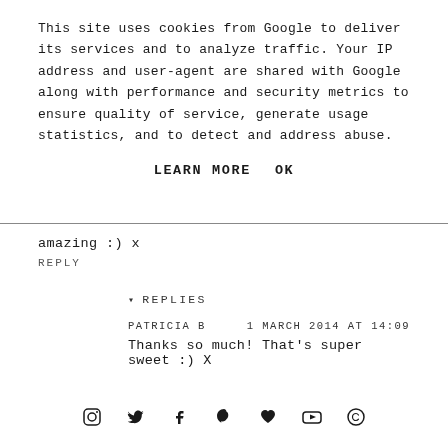This site uses cookies from Google to deliver its services and to analyze traffic. Your IP address and user-agent are shared with Google along with performance and security metrics to ensure quality of service, generate usage statistics, and to detect and address abuse.
LEARN MORE    OK
amazing :) x
REPLY
▾ REPLIES
PATRICIA B
1 MARCH 2014 AT 14:09
Thanks so much! That's super sweet :) X
Social media icons: Instagram, Twitter, Facebook, Pinterest, Heart, YouTube, Copyright